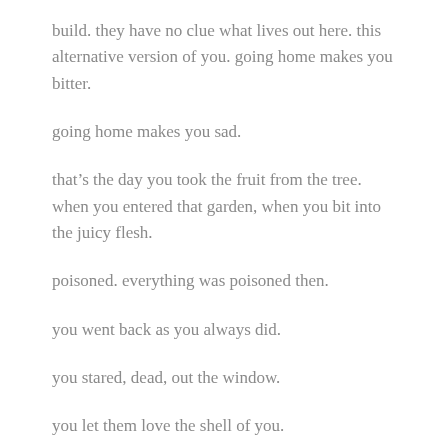build. they have no clue what lives out here. this alternative version of you. going home makes you bitter.
going home makes you sad.
that's the day you took the fruit from the tree. when you entered that garden, when you bit into the juicy flesh.
poisoned. everything was poisoned then.
you went back as you always did.
you stared, dead, out the window.
you let them love the shell of you.